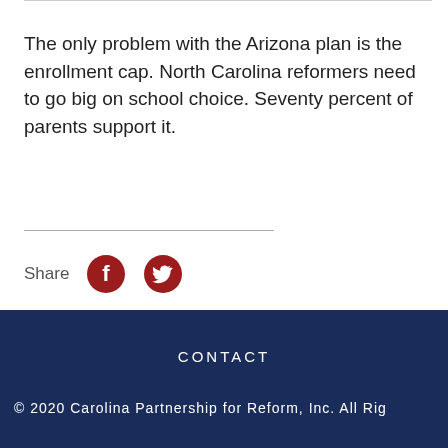The only problem with the Arizona plan is the enrollment cap. North Carolina reformers need to go big on school choice. Seventy percent of parents support it.
[Figure (infographic): Share buttons row with Facebook and Twitter icons in dark red/crimson color, preceded by the label 'Share']
CONTACT
© 2020 Carolina Partnership for Reform, Inc. All Rights Reserved.